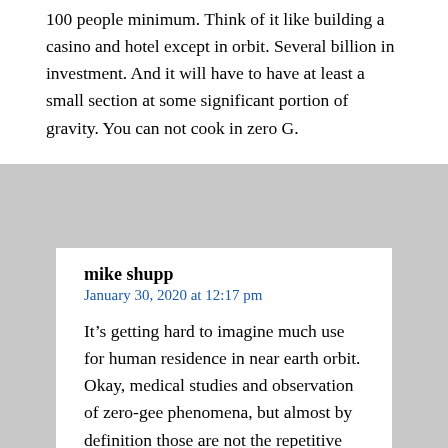100 people minimum. Think of it like building a casino and hotel except in orbit. Several billion in investment. And it will have to have at least a small section at some significant portion of gravity. You can not cook in zero G.
mike shupp
January 30, 2020 at 12:17 pm
It’s getting hard to imagine much use for human residence in near earth orbit. Okay, medical studies and observation of zero-gee phenomena, but almost by definition those are not the repetitive high speed activities associated with modern commerce and manufacturing. True, space offers vacuum, necessary for some processes. Space (or rather orbital mechanics) also offers micro-gravity, which may influence the workings of some manufacturing processes, but I suspect the emerging technology of “3D-printing” will lead to